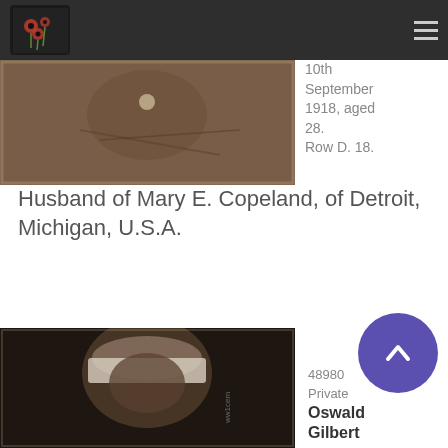WW1 Cemeteries
[Figure (photo): Sepia close-up photograph of a WWI soldier's uniform/chest area]
10th September 1918, aged 28. Row D. 18.
Husband of Mary E. Copeland, of Detroit, Michigan, U.S.A.
[Figure (photo): Sepia portrait photograph of a soldier wearing a military cap]
48980 Private Oswald Gilbert